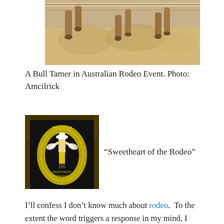[Figure (photo): Close-up photo of horse hooves kicking up dust in a rodeo arena with sandy ground]
A Bull Tamer in Australian Rodeo Event. Photo: Amcilrick
[Figure (photo): Album cover art for The Byrds 'Sweetheart of the Rodeo' showing a cowboy figure surrounded by a wreath on a dark background]
“Sweetheart of the Rodeo”
I’ll confess I don’t know much about rodeo.  To the extent the word triggers a response in my mind, I think of Gram Parsons and the Byrds:  “Sweetheart of the Rodeo”